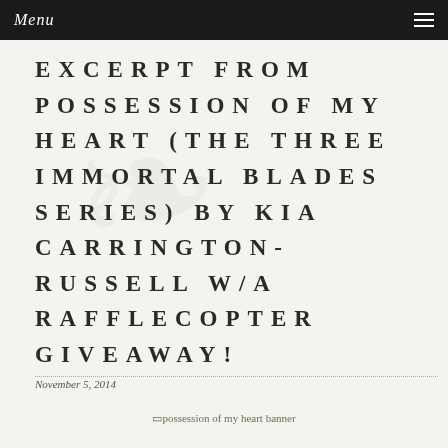Menu ☰
EXCERPT FROM POSSESSION OF MY HEART (THE THREE IMMORTAL BLADES SERIES) BY KIA CARRINGTON-RUSSELL W/A RAFFLECOPTER GIVEAWAY!
November 5, 2014
[Figure (other): possession of my heart banner image placeholder]